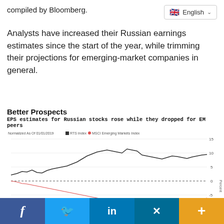compiled by Bloomberg.
Analysts have increased their Russian earnings estimates since the start of the year, while trimming their projections for emerging-market companies in general.
[Figure (line-chart): Better Prospects]
f  Twitter  in  xing  +